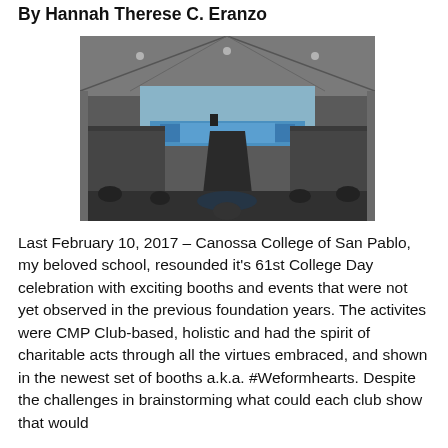By Hannah Therese C. Eranzo
[Figure (photo): A large indoor gymnasium or covered court filled with hundreds of students seated in rows, facing a stage decorated in blue and yellow at the far end. The event appears to be a college assembly or celebration at Canossa College of San Pablo.]
Last February 10, 2017 – Canossa College of San Pablo, my beloved school, resounded it's 61st College Day celebration with exciting booths and events that were not yet observed in the previous foundation years. The activites were CMP Club-based, holistic and had the spirit of charitable acts through all the virtues embraced, and shown in the newest set of booths a.k.a. #Weformhearts. Despite the challenges in brainstorming what could each club show that would